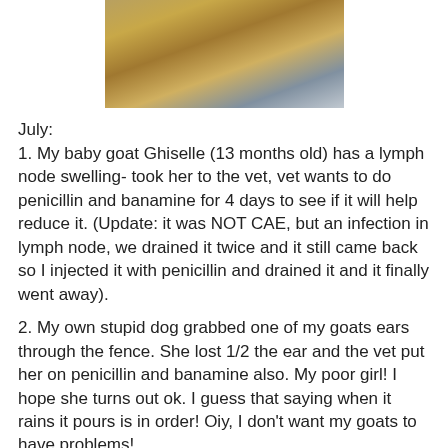[Figure (photo): A goat looking through a wire fence, with hay visible in the background and a blue sky to the right.]
July:
1. My baby goat Ghiselle (13 months old) has a lymph node swelling- took her to the vet, vet wants to do penicillin and banamine for 4 days to see if it will help reduce it. (Update: it was NOT CAE, but an infection in lymph node, we drained it twice and it still came back so I injected it with penicillin and drained it and it finally went away).
2. My own stupid dog grabbed one of my goats ears through the fence. She lost 1/2 the ear and the vet put her on penicillin and banamine also. My poor girl! I hope she turns out ok. I guess that saying when it rains it pours is in order! Oiy, I don't want my goats to have problems!
3. This month we will be packing the house for our move